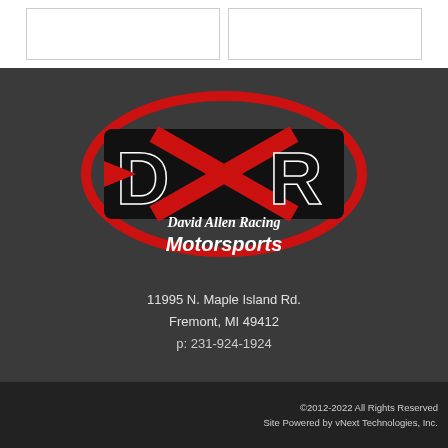[Figure (logo): David Allen Racing Motorsports logo with stylized DXR letters in black and red with an oval red swoosh, and script text reading David Allen Racing Motorsports below]
11995 N. Maple Island Rd.
Fremont, MI 49412
p: 231-924-1924
©2012-2022 All Rights Reserved
Site Powered by vNext Technologies, Inc.